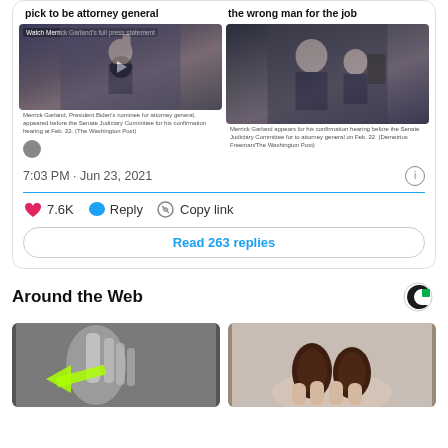[Figure (screenshot): Tweet card showing Washington Post news article links about Merrick Garland attorney general confirmation hearing with two news photos]
7:03 PM · Jun 23, 2021
7.6K
Reply
Copy link
Read 263 replies
Around the Web
[Figure (photo): X-ray or black and white image of a hand/finger with a glowing green arrow highlight]
[Figure (photo): Photo of a hand holding two shriveled dark brown seeds or nuts]